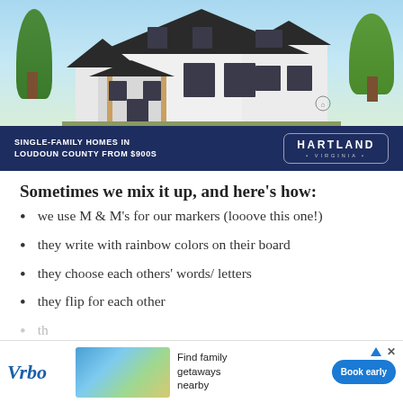[Figure (photo): Advertisement banner showing a modern white two-story single-family home with dark roof, large windows, covered porch, and landscaping. Below the house image is a dark navy blue bar with text 'SINGLE-FAMILY HOMES IN LOUDOUN COUNTY FROM $900s' and the Hartland Virginia logo.]
Sometimes we mix it up, and here's how:
we use M & M's for our markers (looove this one!)
they write with rainbow colors on their board
they choose each others' words/ letters
they flip for each other
t[partially visible, cut off by bottom ad]
[Figure (other): Vrbo advertisement banner at bottom of page with Vrbo logo, beach house photo, text 'Find family getaways nearby' and 'Book early' button.]